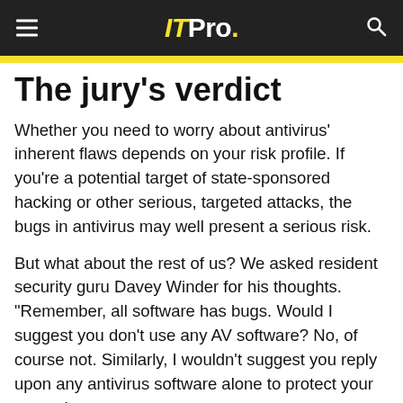ITPro.
The jury's verdict
Whether you need to worry about antivirus' inherent flaws depends on your risk profile. If you're a potential target of state-sponsored hacking or other serious, targeted attacks, the bugs in antivirus may well present a serious risk.
But what about the rest of us? We asked resident security guru Davey Winder for his thoughts. "Remember, all software has bugs. Would I suggest you don't use any AV software? No, of course not. Similarly, I wouldn't suggest you reply upon any antivirus software alone to protect your networks